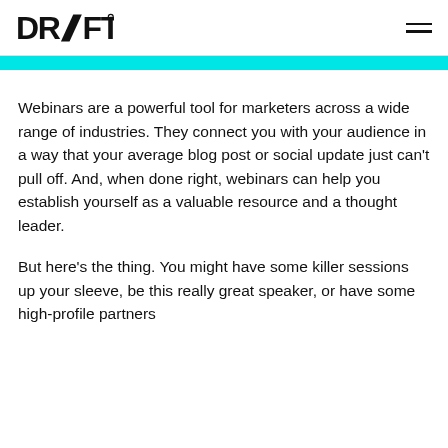DRIFT
Webinars are a powerful tool for marketers across a wide range of industries. They connect you with your audience in a way that your average blog post or social update just can't pull off. And, when done right, webinars can help you establish yourself as a valuable resource and a thought leader.
But here's the thing. You might have some killer sessions up your sleeve, be this really great speaker, or have some high-profile partners